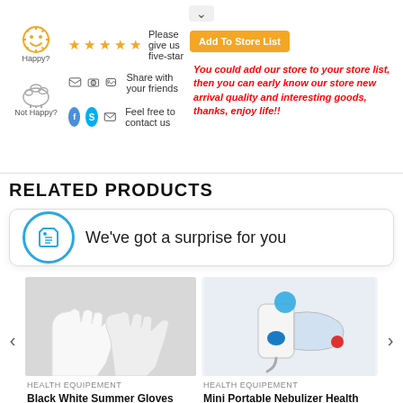[Figure (screenshot): Store feedback section with happy/not happy icons, star rating row, social share icons, Add To Store List button, and red italic text about adding store]
Please give us five-star
Share with your friends
Feel free to contact us
You could add our store to your store list, then you can early know our store new arrival quality and interesting goods, thanks, enjoy life!!
RELATED PRODUCTS
We've got a surprise for you
HEALTH EQUIPEMENT
Black White Summer Gloves
HEALTH EQUIPEMENT
Mini Portable Nebulizer Health